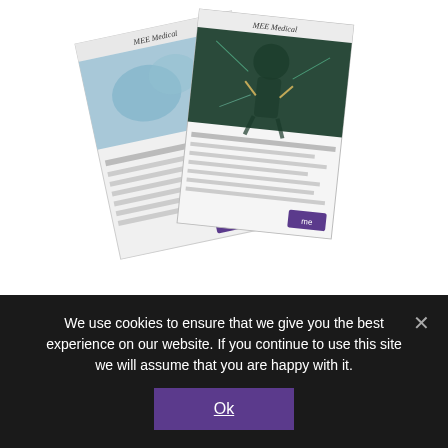[Figure (illustration): Two MEE Medical magazine/newsletter covers fanned out, one showing a microscopy/biology image and the other showing a human anatomy/body image in green tones, with MEE Medical headers visible]
Please note: The answers comprising Medical Matters were accurate at the time of printing. A publication date accompanies all listed entries. We will endeavour to keep Medical Matters updated as information changes, but if you would like to comment, please email:
We use cookies to ensure that we give you the best experience on our website. If you continue to use this site we will assume that you are happy with it.